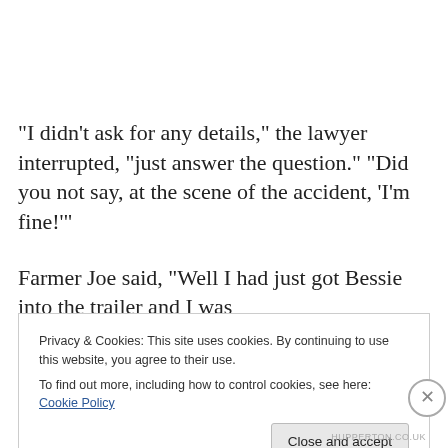“I didn’t ask for any details,” the lawyer interrupted, “just answer the question.” “Did you not say, at the scene of the accident, ‘I’m fine!’”
Farmer Joe said, “Well I had just got Bessie into the trailer and I was
Privacy & Cookies: This site uses cookies. By continuing to use this website, you agree to their use.
To find out more, including how to control cookies, see here: Cookie Policy